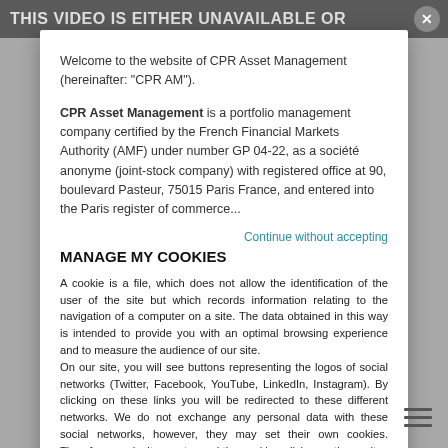THIS VIDEO IS EITHER UNAVAILABLE OR
Welcome to the website of CPR Asset Management (hereinafter: “CPR AM”).
CPR Asset Management is a portfolio management company certified by the French Financial Markets Authority (AMF) under number GP 04-22, as a société anonyme (joint-stock company) with registered office at 90, boulevard Pasteur, 75015 Paris France, and entered into the Paris register of commerce...
Continue without accepting
MANAGE MY COOKIES
A cookie is a file, which does not allow the identification of the user of the site but which records information relating to the navigation of a computer on a site. The data obtained in this way is intended to provide you with an optimal browsing experience and to measure the audience of our site.
On our site, you will see buttons representing the logos of social networks (Twitter, Facebook, YouTube, LinkedIn, Instagram). By clicking on these links you will be redirected to these different networks. We do not exchange any personal data with these social networks, however, they may set their own cookies. Therefore, we invite you to read the cookie policies on these sites before browsing
View our cookie policy
Personalization
Accept all